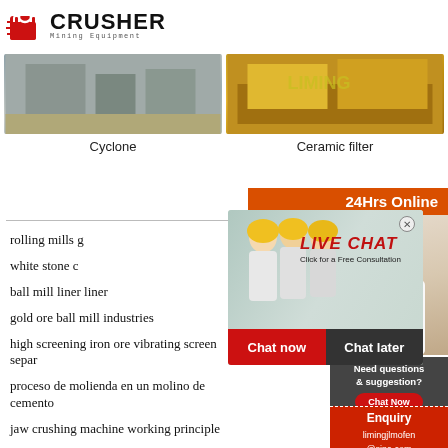[Figure (logo): Crusher Mining Equipment logo with red shopping bag icon and bold CRUSHER text]
[Figure (photo): Photo of Cyclone mining equipment - grey industrial facility]
Cyclone
[Figure (photo): Photo of Ceramic filter - yellow/orange mining machinery on truck]
Ceramic filter
[Figure (screenshot): Live chat overlay popup with workers in hard hats, LIVE CHAT heading, Chat now and Chat later buttons]
[Figure (photo): Customer service agent with headset - 24Hrs Online sidebar]
rolling mills g
white stone c
ball mill liner liner
gold ore ball mill industries
high screening iron ore vibrating screen separ
proceso de molienda en un molino de cemento
jaw crushing machine working principle
Need questions & suggestion?
Chat Now
Enquiry
limingjlmofen@sina.com